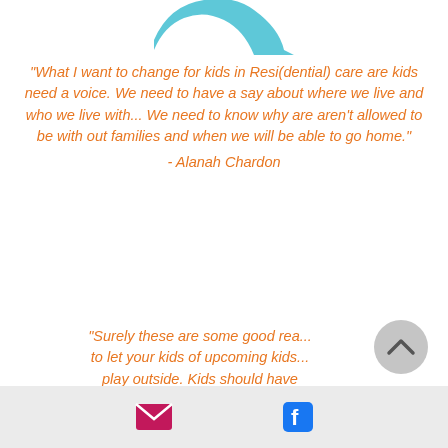[Figure (illustration): Teal/blue decorative shape at top of page, partial view]
"What I want to change for kids in Resi(dential) care are kids need a voice. We need to have a say about where we live and who we live with... We need to know why are aren't allowed to be with out families and when we will be able to go home." - Alanah Chardon
"Surely these are some good reasons to let your kids of upcoming kids play outside. Kids should have
[Figure (other): Gray circular scroll-to-top button with upward chevron arrow]
Email icon and Facebook icon in footer bar